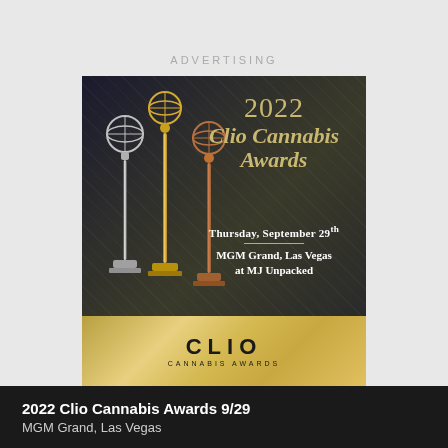ADVERTISING
[Figure (illustration): 2022 Clio Cannabis Awards advertisement showing three trophy statuettes (silver, gold, bronze) on dark background. Text reads: '2022 Clio Cannabis Awards', 'Thursday, September 29th', 'MGM Grand, Las Vegas at MJ Unpacked'. Gold band at bottom with CLIO CANNABIS AWARDS logo.]
2022 Clio Cannabis Awards 9/29
MGM Grand, Las Vegas